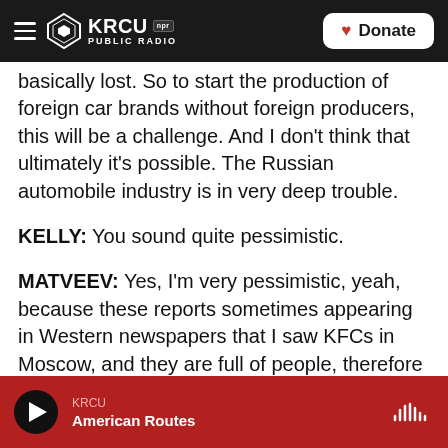KRCU NPR PUBLIC RADIO | Donate
basically lost. So to start the production of foreign car brands without foreign producers, this will be a challenge. And I don't think that ultimately it's possible. The Russian automobile industry is in very deep trouble.
KELLY: You sound quite pessimistic.
MATVEEV: Yes, I'm very pessimistic, yeah, because these reports sometimes appearing in Western newspapers that I saw KFCs in Moscow, and they are full of people, therefore sanctions do not work. So I think that these reports are really not indicative of what's really going on in the Russian economy.
KRCU | American Routes